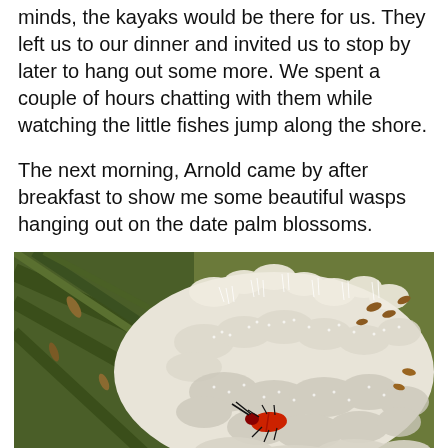minds, the kayaks would be there for us. They left us to our dinner and invited us to stop by later to hang out some more. We spent a couple of hours chatting with them while watching the little fishes jump along the shore.
The next morning, Arnold came by after breakfast to show me some beautiful wasps hanging out on the date palm blossoms.
[Figure (photo): Close-up photograph of white date palm blossoms with a red beetle/insect on the flowers, green palm fronds visible in the background, and small brown insects also visible on the blossoms.]